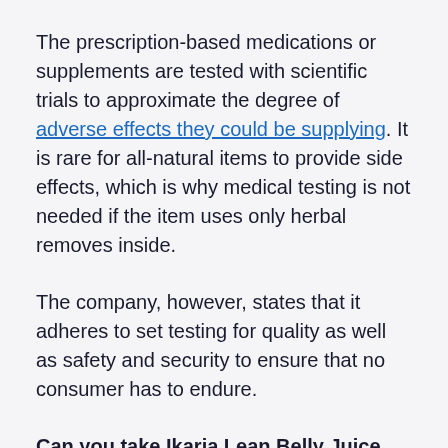The prescription-based medications or supplements are tested with scientific trials to approximate the degree of adverse effects they could be supplying. It is rare for all-natural items to provide side effects, which is why medical testing is not needed if the item uses only herbal removes inside.
The company, however, states that it adheres to set testing for quality as well as safety and security to ensure that no consumer has to endure.
Can you take Ikaria Lean Belly Juice with diet regimen pills?
Ikaria Lean Belly Juice is a weight reduction